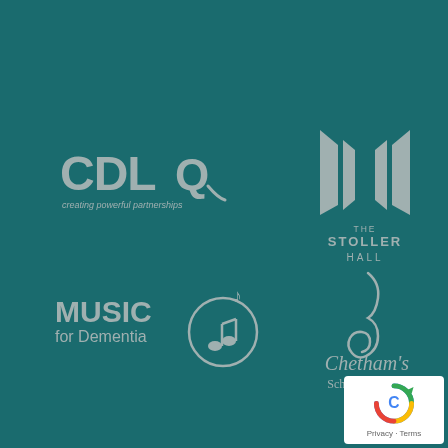[Figure (logo): CDLQ logo with text 'creating powerful partnerships' on teal background]
[Figure (logo): The Stoller Hall logo with stylized angular shapes on teal background]
[Figure (logo): Music for Dementia logo with head and musical notes on teal background]
[Figure (logo): Chetham's School of Music logo with cursive mark on teal background]
[Figure (logo): reCAPTCHA badge with Privacy and Terms links]